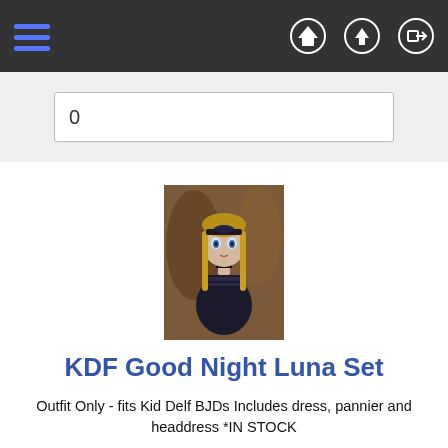Navigation bar with hamburger menu and icons (home, upload, login)
0
[Figure (photo): Product photo of a BJD doll wearing a dark gothic lolita outfit with long blonde hair]
KDF Good Night Luna Set
Outfit Only - fits Kid Delf BJDs Includes dress, pannier and headdress *IN STOCK
LUTS Doll - Kid Delf
$45.00
Add: